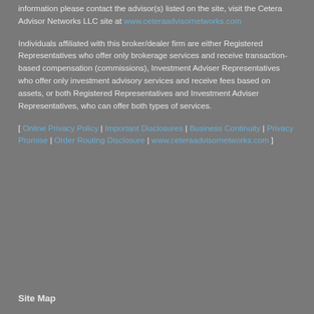information please contact the advisor(s) listed on the site, visit the Cetera Advisor Networks LLC site at www.ceteraadvisornetworks.com
Individuals affiliated with this broker/dealer firm are either Registered Representatives who offer only brokerage services and receive transaction- based compensation (commissions), Investment Adviser Representatives who offer only investment advisory services and receive fees based on assets, or both Registered Representatives and Investment Adviser Representatives, who can offer both types of services.
[ Online Privacy Policy | Important Disclosures | Business Continuity | Privacy Promise | Order Routing Disclosure | www.ceteraadvisornetworks.com ]
Site Map